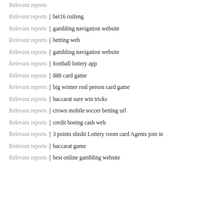Relevant reports│bet16 ruifeng
Relevant reports│gambling navigation website
Relevant reports│betting web
Relevant reports│gambling navigation website
Relevant reports│football lottery app
Relevant reports│888 card game
Relevant reports│big winner real person card game
Relevant reports│baccarat sure win tricks
Relevant reports│crown mobile soccer betting url
Relevant reports│credit boeing cash web
Relevant reports│3 points shishi Lottery room card Agents join in
Relevant reports│baccarat game
Relevant reports│best online gambling website